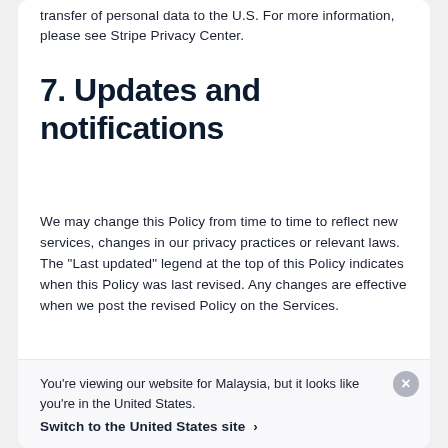transfer of personal data to the U.S. For more information, please see Stripe Privacy Center.
7. Updates and notifications
We may change this Policy from time to time to reflect new services, changes in our privacy practices or relevant laws. The “Last updated” legend at the top of this Policy indicates when this Policy was last revised. Any changes are effective when we post the revised Policy on the Services.
You’re viewing our website for Malaysia, but it looks like you’re in the United States.
Switch to the United States site ›
or Business User, by contacting you through your Stripe